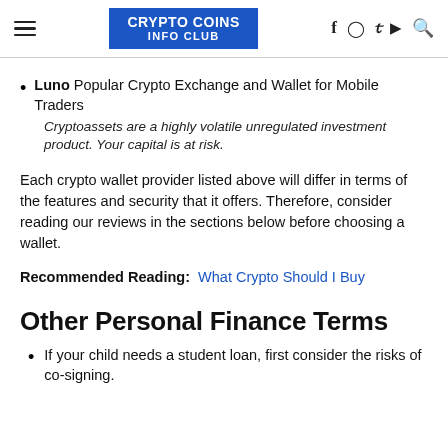CRYPTO COINS INFO CLUB
Luno Popular Crypto Exchange and Wallet for Mobile Traders
Cryptoassets are a highly volatile unregulated investment product. Your capital is at risk.
Each crypto wallet provider listed above will differ in terms of the features and security that it offers. Therefore, consider reading our reviews in the sections below before choosing a wallet.
Recommended Reading: What Crypto Should I Buy
Other Personal Finance Terms
If your child needs a student loan, first consider the risks of co-signing.